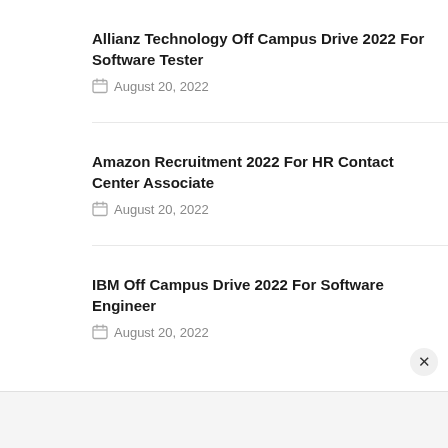Allianz Technology Off Campus Drive 2022 For Software Tester
August 20, 2022
Amazon Recruitment 2022 For HR Contact Center Associate
August 20, 2022
IBM Off Campus Drive 2022 For Software Engineer
August 20, 2022